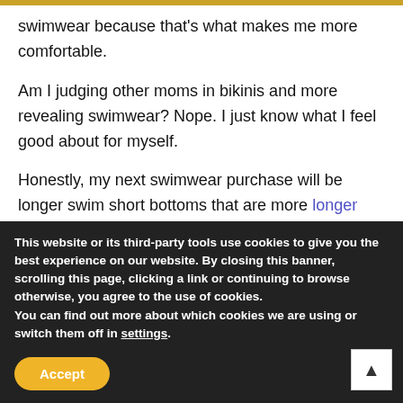swimwear because that's what makes me more comfortable.
Am I judging other moms in bikinis and more revealing swimwear? Nope. I just know what I feel good about for myself.
Honestly, my next swimwear purchase will be longer swim short bottoms that are more longer swim shorts, which is the length I wear for my regular clothes anyway.
The age of the Internet is a great one for giving us different options. I still haven't see any of the modest swimwear I most
This website or its third-party tools use cookies to give you the best experience on our website. By closing this banner, scrolling this page, clicking a link or continuing to browse otherwise, you agree to the use of cookies.
You can find out more about which cookies we are using or switch them off in settings.